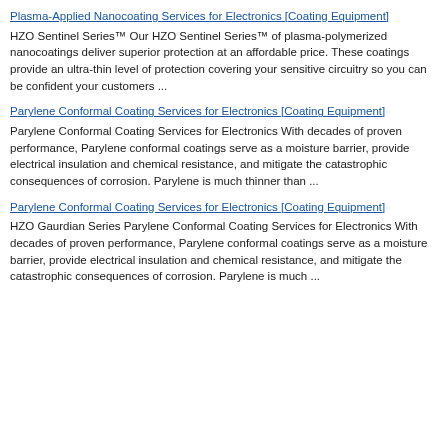Plasma-Applied Nanocoating Services for Electronics [Coating Equipment]
HZO Sentinel Series™ Our HZO Sentinel Series™ of plasma-polymerized nanocoatings deliver superior protection at an affordable price. These coatings provide an ultra-thin level of protection covering your sensitive circuitry so you can be confident your customers ...
Parylene Conformal Coating Services for Electronics [Coating Equipment]
Parylene Conformal Coating Services for Electronics With decades of proven performance, Parylene conformal coatings serve as a moisture barrier, provide electrical insulation and chemical resistance, and mitigate the catastrophic consequences of corrosion. Parylene is much thinner than ...
Parylene Conformal Coating Services for Electronics [Coating Equipment]
HZO Gaurdian Series Parylene Conformal Coating Services for Electronics With decades of proven performance, Parylene conformal coatings serve as a moisture barrier, provide electrical insulation and chemical resistance, and mitigate the catastrophic consequences of corrosion. Parylene is much ...